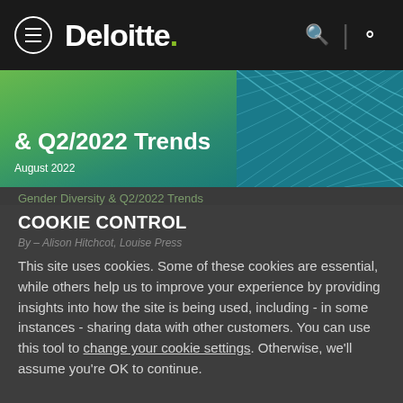Deloitte. [navigation bar with hamburger menu, search icon, user icon]
[Figure (screenshot): Deloitte article banner showing '& Q2/2022 Trends' text with 'August 2022' subtitle on a green-to-teal gradient background with abstract line pattern on the right]
Gender Diversity & Q2/2022 Trends
COOKIE CONTROL
By – Alison Hitchcot, Louise Press
This site uses cookies. Some of these cookies are essential, while others help us to improve your experience by providing insights into how the site is being used, including - in some instances - sharing data with other customers. You can use this tool to change your cookie settings. Otherwise, we'll assume you're OK to continue.
I'm fine with this
The Future of Delegated Underwriting – A Deloitte…
More details